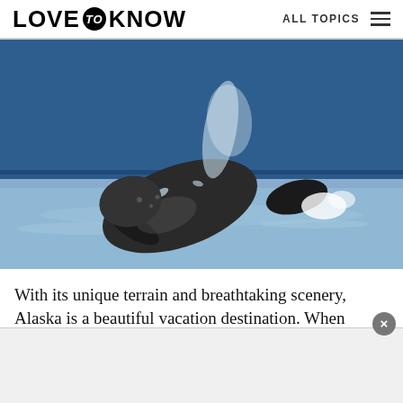LOVE to KNOW — ALL TOPICS
[Figure (photo): A humpback whale breaching out of the ocean water with blue glacier cliffs in the background, water spraying dramatically around it.]
With its unique terrain and breathtaking scenery, Alaska is a beautiful vacation destination. When
[Figure (other): Advertisement banner with a close button (×) in the bottom portion of the page.]